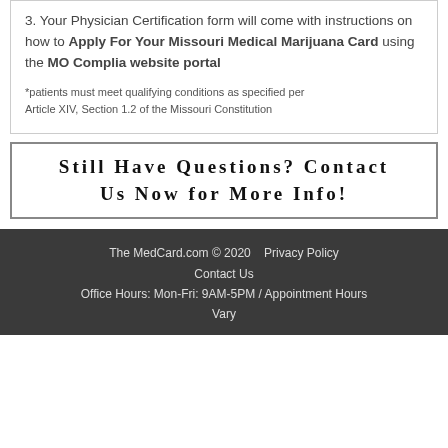3. Your Physician Certification form will come with instructions on how to Apply For Your Missouri Medical Marijuana Card using the MO Complia website portal
*patients must meet qualifying conditions as specified per Article XIV, Section 1.2 of the Missouri Constitution
Still Have Questions? Contact Us Now for More Info!
The MedCard.com © 2020   Privacy Policy   Contact Us   Office Hours: Mon-Fri: 9AM-5PM / Appointment Hours Vary